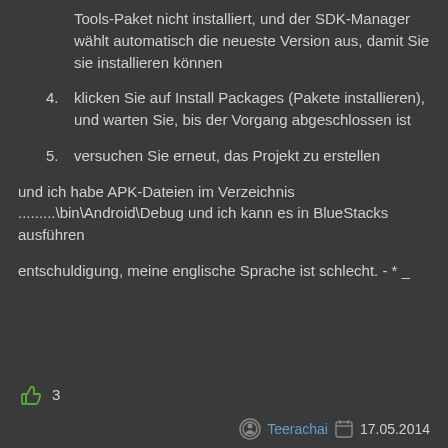Tools-Paket nicht installiert, und der SDK-Manager wählt automatisch die neueste Version aus, damit Sie sie installieren können
4. klicken Sie auf Install Packages (Pakete installieren), und warten Sie, bis der Vorgang abgeschlossen ist
5. versuchen Sie erneut, das Projekt zu erstellen
und ich habe APK-Dateien im Verzeichnis .........\bin\Android\Debug und ich kann es in BlueStacks ausführen
entschuldigung, meine englische Sprache ist schlecht. - * _
👍 3
Teerachai  17.05.2014